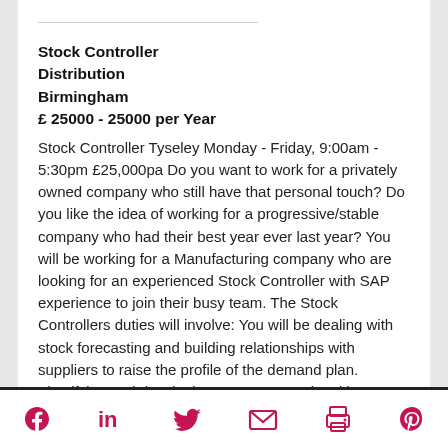Stock Controller
Distribution
Birmingham
£ 25000 - 25000 per Year
Stock Controller Tyseley Monday - Friday, 9:00am - 5:30pm £25,000pa Do you want to work for a privately owned company who still have that personal touch? Do you like the idea of working for a progressive/stable company who had their best year ever last year? You will be working for a Manufacturing company who are looking for an experienced Stock Controller with SAP experience to join their busy team. The Stock Controllers duties will involve: You will be dealing with stock forecasting and building relationships with suppliers to raise the profile of the demand plan. Identifying and developing processes and making improvements. Monitoring order levels and resolving urgent stock delay
Social share icons: Facebook, LinkedIn, Twitter, Email, Print, Pinterest